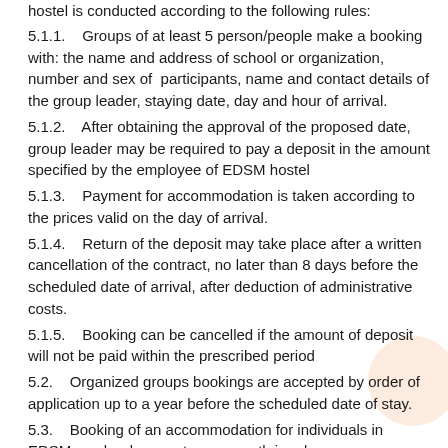hostel is conducted according to the following rules:
5.1.1.    Groups of at least 5 person/people make a booking with: the name and address of school or organization, number and sex of  participants, name and contact details of the group leader, staying date, day and hour of arrival.
5.1.2.    After obtaining the approval of the proposed date, group leader may be required to pay a deposit in the amount specified by the employee of EDSM hostel
5.1.3.    Payment for accommodation is taken according to the prices valid on the day of arrival.
5.1.4.    Return of the deposit may take place after a written cancellation of the contract, no later than 8 days before the scheduled date of arrival, after deduction of administrative costs.
5.1.5.    Booking can be cancelled if the amount of deposit will not be paid within the prescribed period
5.2.    Organized groups bookings are accepted by order of application up to a year before the scheduled date of stay.
5.3.    Booking of an accommodation for individuals in EDSM can be done up to one month in advance.